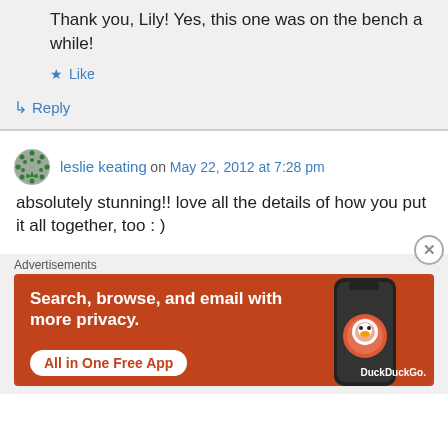Thank you, Lily! Yes, this one was on the bench a while!
Like
Reply
leslie keating on May 22, 2012 at 7:28 pm
absolutely stunning!! love all the details of how you put it all together, too : )
Advertisements
[Figure (screenshot): DuckDuckGo advertisement banner with orange background. Text reads: Search, browse, and email with more privacy. All in One Free App. Shows a phone mockup with DuckDuckGo logo.]